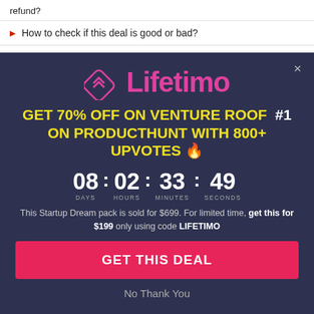refund?
How to check if this deal is good or bad?
[Figure (screenshot): Lifetimo promotional modal popup with logo, discount offer, countdown timer, and CTA button on dark navy background]
Lifetimo
GET 70% OFF ON VENTURE ROOF #1 ON PRODUCTHUNT with 800+ UPVOTES 🔥
08 : 02 : 33 : 49 DAYS HOURS MINUTES SECONDS
This Startup Dream pack is sold for $699. For limited time, get this for $199 only using code LIFETIMO
GET THIS DEAL
No Thank You